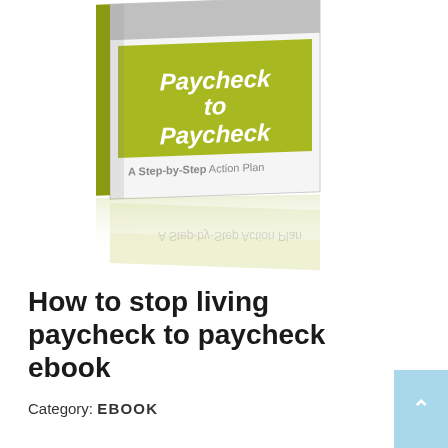[Figure (illustration): 3D rendered book cover titled 'Paycheck to Paycheck: A Step-by-Step Action Plan' with olive/yellow-green cover and white text, shown with a reflection beneath it]
How to stop living paycheck to paycheck ebook
Category: EBOOK